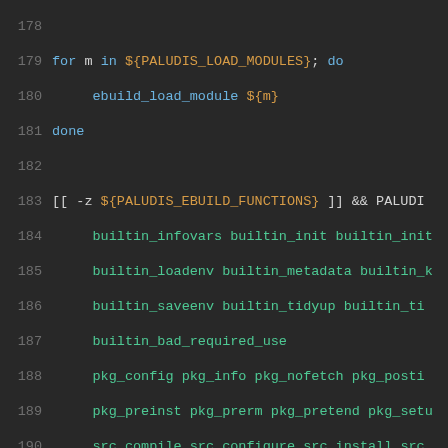[Figure (screenshot): Shell script source code editor view showing lines 178-205 with syntax highlighting on dark background. Code involves PALUDIS module loading, ebuild functions, sandbox configuration with bash environment variables.]